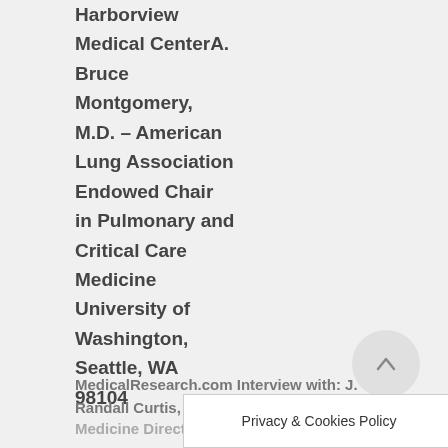Harborview Medical CenterA. Bruce Montgomery, M.D. – American Lung Association Endowed Chair in Pulmonary and Critical Care Medicine University of Washington, Seattle, WA 98104
MedicalResearch.com Interview with: J. Randall Curtis,
Medicine Directo...
[Figure (other): Circular scroll-to-top button with upward arrow icon]
Privacy & Cookies Policy